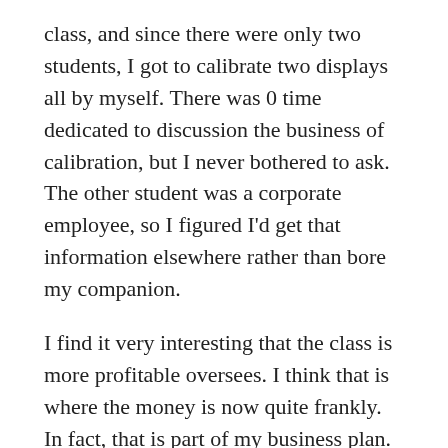class, and since there were only two students, I got to calibrate two displays all by myself. There was 0 time dedicated to discussion the business of calibration, but I never bothered to ask. The other student was a corporate employee, so I figured I'd get that information elsewhere rather than bore my companion.
I find it very interesting that the class is more profitable oversees. I think that is where the money is now quite frankly. In fact, that is part of my business plan. Unfortunately it is making it very hard to find a THX class stateside.
I think, that if a class is really about preparing a student for the business of calibration, it should be 10% calibration and 70%+ marketing. Or at